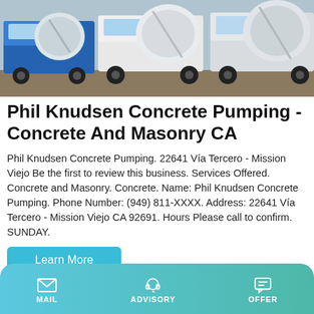[Figure (photo): Multiple concrete mixer trucks parked together, showing large rotating drum mixers]
Phil Knudsen Concrete Pumping - Concrete And Masonry CA
Phil Knudsen Concrete Pumping. 22641 Vía Tercero - Mission Viejo Be the first to review this business. Services Offered. Concrete and Masonry. Concrete. Name: Phil Knudsen Concrete Pumping. Phone Number: (949) 811-XXXX. Address: 22641 Vía Tercero - Mission Viejo CA 92691. Hours Please call to confirm. SUNDAY.
Learn More
Concrete Equipment Transit Concrete Mixer Exporter from
MAIL   ADVISORY   OFFER